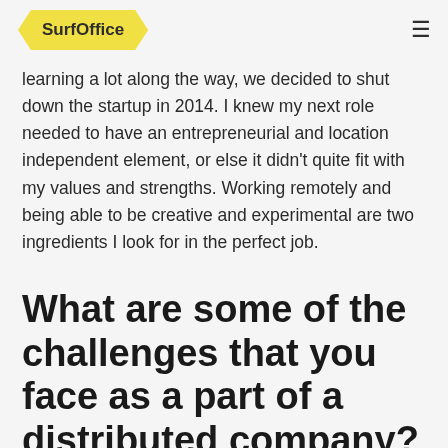SurfOffice
learning a lot along the way, we decided to shut down the startup in 2014. I knew my next role needed to have an entrepreneurial and location independent element, or else it didn't quite fit with my values and strengths. Working remotely and being able to be creative and experimental are two ingredients I look for in the perfect job.
What are some of the challenges that you face as a part of a distributed company?